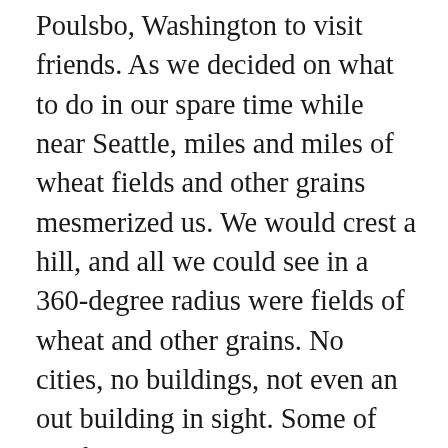Poulsbo, Washington to visit friends. As we decided on what to do in our spare time while near Seattle, miles and miles of wheat fields and other grains mesmerized us. We would crest a hill, and all we could see in a 360-degree radius were fields of wheat and other grains. No cities, no buildings, not even an out building in sight. Some of the fields had recently been cut, others newly plowed, while others still contained stalks standing tall. About every ten or fifteen miles, clumps of trees, shimmering silos, and barns, would appear in the distance. The acres of agribusiness was a side of the Washington State I had never seen before